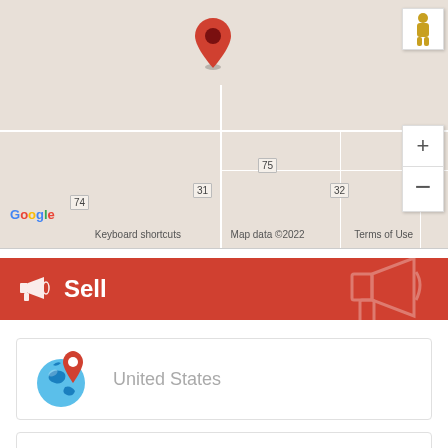[Figure (map): Google Maps view showing a location pin in a rural area with road markers labeled 74, 75, 31, 32, 33. Includes pegman icon, zoom in/out controls, Google logo, keyboard shortcuts, map data copyright 2022, and Terms of Use link.]
Sell
United States